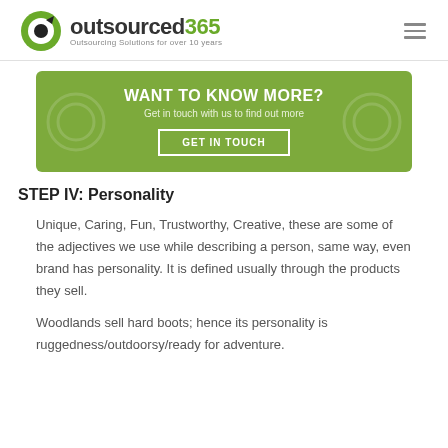outsourced365 — Outsourcing Solutions for over 10 years
[Figure (infographic): Green CTA banner reading 'WANT TO KNOW MORE? Get in touch with us to find out more' with a GET IN TOUCH button]
STEP IV: Personality
Unique, Caring, Fun, Trustworthy, Creative, these are some of the adjectives we use while describing a person, same way, even brand has personality. It is defined usually through the products they sell.
Woodlands sell hard boots; hence its personality is ruggedness/outdoorsy/ready for adventure.